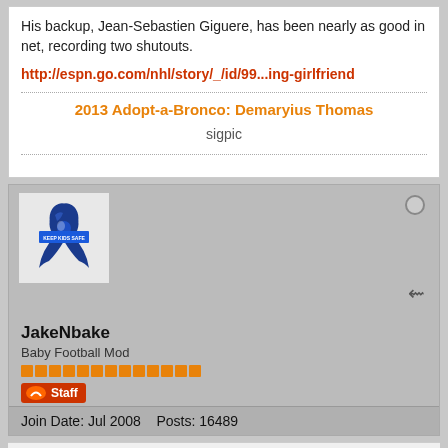His backup, Jean-Sebastien Giguere, has been nearly as good in net, recording two shutouts.
http://espn.go.com/nhl/story/_/id/99...ing-girlfriend
2013 Adopt-a-Bronco: Demaryius Thomas
sigpic
[Figure (photo): Blue awareness ribbon avatar with text 'Keep Kids Safe']
JakeNbake
Baby Football Mod
Join Date: Jul 2008    Posts: 16489
10-31-2013, 12:19 PM
#8
He's also been cleared to travel with the team out of state...